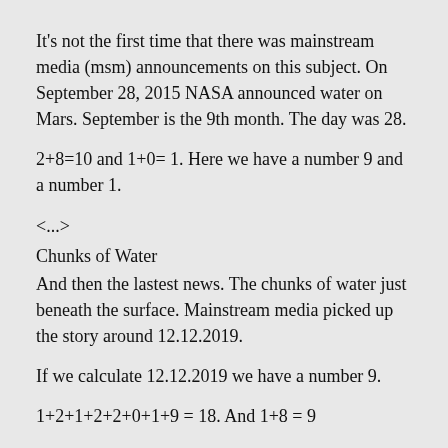It's not the first time that there was mainstream media (msm) announcements on this subject. On September 28, 2015 NASA announced water on Mars. September is the 9th month. The day was 28.
2+8=10 and 1+0= 1. Here we have a number 9 and a number 1.
<...>
Chunks of Water
And then the lastest news. The chunks of water just beneath the surface. Mainstream media picked up the story around 12.12.2019.
If we calculate 12.12.2019 we have a number 9.
1+2+1+2+2+0+1+9 = 18. And 1+8 = 9
The chunks of water beneath the surface of Mars resonates